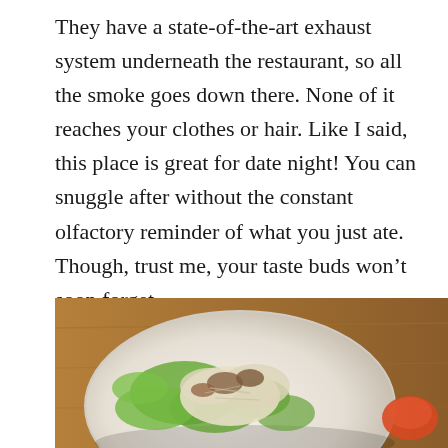They have a state-of-the-art exhaust system underneath the restaurant, so all the smoke goes down there. None of it reaches your clothes or hair. Like I said, this place is great for date night! You can snuggle after without the constant olfactory reminder of what you just ate. Though, trust me, your taste buds won't soon forget.
I mean, seriously. Words cannot even begin to describe the meal we had. Feast your eyes on this.
[Figure (photo): A close-up photo of a food dish in a white bowl — appears to be a salad or mixed dish with green lettuce leaves, light-colored ingredients and what looks like meat or mushrooms, with a warm brown wooden table visible in the background.]